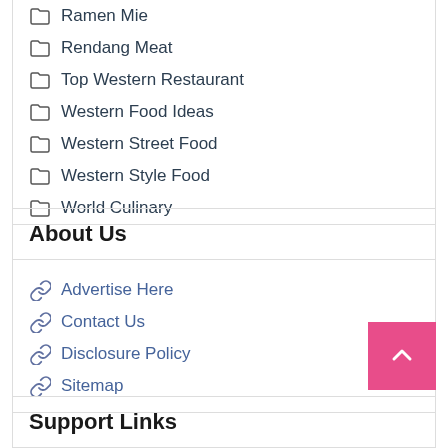Popular Western Food
Ramen Mie
Rendang Meat
Top Western Restaurant
Western Food Ideas
Western Street Food
Western Style Food
World Culinary
About Us
Advertise Here
Contact Us
Disclosure Policy
Sitemap
Support Links